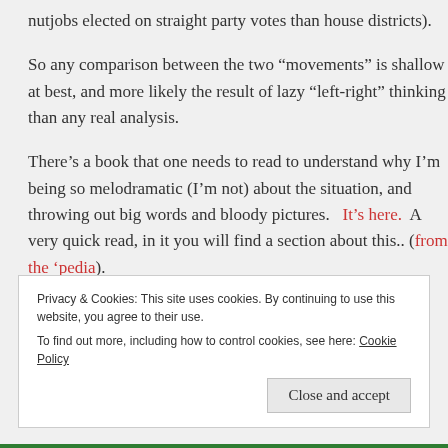nutjobs elected on straight party votes than house districts).
So any comparison between the two “movements” is shallow at best, and more likely the result of lazy “left-right” thinking than any real analysis.
There’s a book that one needs to read to understand why I’m being so melodramatic (I’m not) about the situation, and throwing out big words and bloody pictures.   It’s here.   A very quick read, in it you will find a section about this.. (from the ‘pedia).
Privacy & Cookies: This site uses cookies. By continuing to use this website, you agree to their use.
To find out more, including how to control cookies, see here: Cookie Policy
Close and accept